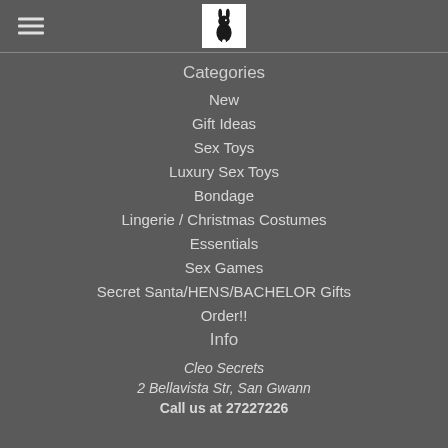[Figure (logo): Cleo Secrets logo — white box with a stylized rabbit/figure in black]
Categories
New
Gift Ideas
Sex Toys
Luxury Sex Toys
Bondage
Lingerie / Christmas Costumes
Essentials
Sex Games
Secret Santa/HENS/BACHELOR Gifts
Order!!
Info
Cleo Secrets
2 Bellavista Str, San Gwann
Call us at 27227226